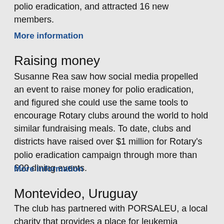polio eradication, and attracted 16 new members.
More information
Raising money
Susanne Rea saw how social media propelled an event to raise money for polio eradication, and figured she could use the same tools to encourage Rotary clubs around the world to hold similar fundraising meals. To date, clubs and districts have raised over $1 million for Rotary's polio eradication campaign through more than 600 dining events.
More information
Montevideo, Uruguay
The club has partnered with PORSALEU, a local charity that provides a place for leukemia patients and their families to stay close to the hospital when they travel to